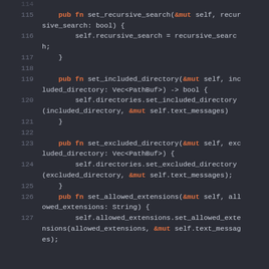[Figure (screenshot): Rust source code editor screenshot showing lines 115-127 with dark background theme. Lines show public functions: set_recursive_search, set_included_directory, set_excluded_directory, and set_allowed_extensions with their implementations.]